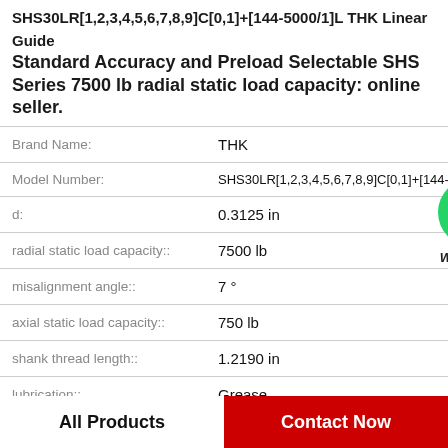SHS30LR[1,2,3,4,5,6,7,8,9]C[0,1]+[144-5000/1]L THK Linear Guide Standard Accuracy and Preload Selectable SHS Series 7500 lb radial static load capacity: online seller.
| Property | Value |
| --- | --- |
| Brand Name: | THK |
| Model Number: | SHS30LR[1,2,3,4,5,6,7,8,9]C[0,1]+[144-... |
| d: | 0.3125 in |
| radial static load capacity:: | 7500 lb |
| misalignment angle:: | 7 ° |
| axial static load capacity:: | 750 lb |
| shank thread length:: | 1.2190 in |
| lubrication:: | Grease |
[Figure (logo): WhatsApp Online contact icon — green phone icon with WhatsApp Online label]
All Products
Contact Now